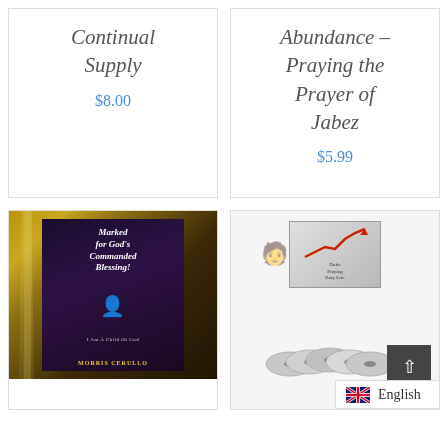Continual Supply
$8.00
Abundance – Praying the Prayer of Jabez
$5.99
[Figure (photo): Book cover: 'Marked for God's Commanded Blessing!' by Morris Cerullo. I Am A Child Of God subtitle.]
[Figure (photo): CD/DVD set product image with a person and rising graph arrow on the box cover, multiple discs fanned out below.]